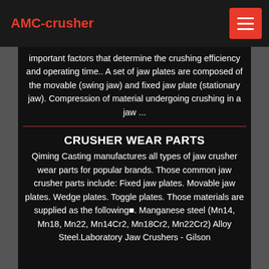AMC-crusher
important factors that determine the crushing efficiency and operating time.. A set of jaw plates are composed of the movable (swing jaw) and fixed jaw plate (stationary jaw). Compression of material undergoing crushing in a jaw ...
CRUSHER WEAR PARTS
Qiming Casting manufactures all types of jaw crusher wear parts for popular brands. Those common jaw crusher parts include: Fixed jaw plates. Movable jaw plates. Wedge plates. Toggle plates. Those materials are supplied as the following■. Manganese steel (Mn14, Mn18, Mn22, Mn14Cr2, Mn18Cr2, Mn22Cr2) Alloy Steel.Laboratory Jaw Crushers - Gilson